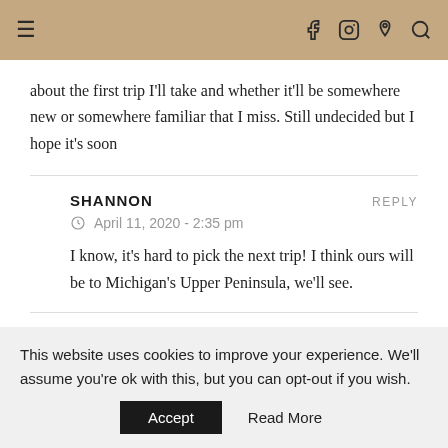≡  f  [instagram]  [pinterest]  [search]
about the first trip I'll take and whether it'll be somewhere new or somewhere familiar that I miss. Still undecided but I hope it's soon
SHANNON
REPLY
© April 11, 2020 - 2:35 pm
I know, it's hard to pick the next trip! I think ours will be to Michigan's Upper Peninsula, we'll see.
This website uses cookies to improve your experience. We'll assume you're ok with this, but you can opt-out if you wish.
Accept   Read More